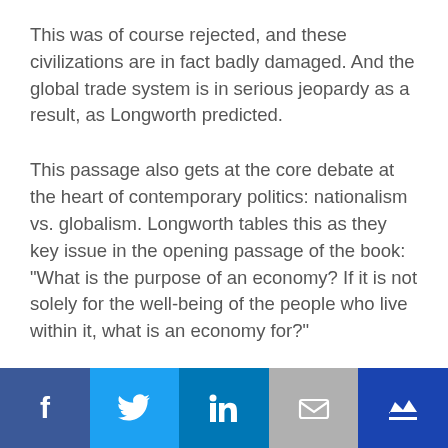This was of course rejected, and these civilizations are in fact badly damaged. And the global trade system is in serious jeopardy as a result, as Longworth predicted.
This passage also gets at the core debate at the heart of contemporary politics: nationalism vs. globalism. Longworth tables this as they key issue in the opening passage of the book: "What is the purpose of an economy? If it is not solely for the well-being of the people who live within it, what is an economy for?"
Longworth at this point in time clearly sided
[Figure (other): Social media sharing bar with icons for Facebook, Twitter, LinkedIn, Email, and a crown/newsletter icon]